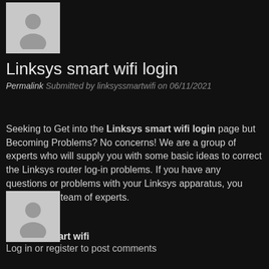[Figure (illustration): Generic user avatar placeholder silhouette on light grey background, top of page]
Linksys smart wifi login
Permalink Submitted by linksyssmartwifi on 06/11/2021
Seeking to Get into the Linksys smart wifi login page but Becoming Problems? No concerns! We are a group of experts who will supply you with some basic ideas to correct the Linksys router log-in problems. If you have any questions or problems with your Linksys apparatus, you may ask the team of experts.
Linksys smart wifi
Log in or register to post comments
[Figure (illustration): Generic user avatar placeholder silhouette on light grey background, bottom of page]